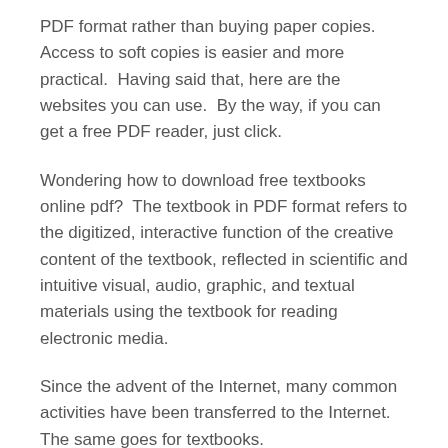PDF format rather than buying paper copies.  Access to soft copies is easier and more practical.  Having said that, here are the websites you can use.  By the way, if you can get a free PDF reader, just click.
Wondering how to download free textbooks online pdf?  The textbook in PDF format refers to the digitized, interactive function of the creative content of the textbook, reflected in scientific and intuitive visual, audio, graphic, and textual materials using the textbook for reading electronic media.
Since the advent of the Internet, many common activities have been transferred to the Internet.  The same goes for textbooks.
Because of the current Covid-19 virus, many schools choose to conduct online lessons at home.  Then a